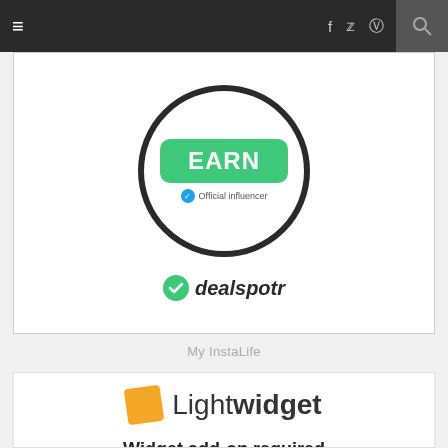≡  f  𝗍  ⊡  ℗  ♥  🔍
[Figure (logo): Dealspotr badge with green EARN button, checkmark 'Official influencer' text, and dealspotr logo below]
My InstaLife
[Figure (logo): Lightwidget logo with orange square icon and Light widget text]
Widget add-on required
This is free version of our widget. HTTPS is disabled for free widgets. Please upgrade this widget to enable